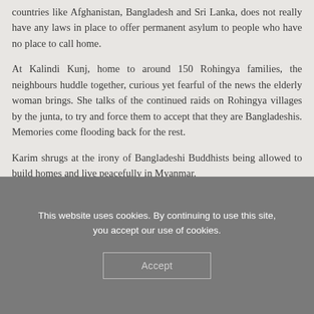countries like Afghanistan, Bangladesh and Sri Lanka, does not really have any laws in place to offer permanent asylum to people who have no place to call home.
At Kalindi Kunj, home to around 150 Rohingya families, the neighbours huddle together, curious yet fearful of the news the elderly woman brings. She talks of the continued raids on Rohingya villages by the junta, to try and force them to accept that they are Bangladeshis. Memories come flooding back for the rest.
Karim shrugs at the irony of Bangladeshi Buddhists being allowed to build homes and live peacefully in Myanmar.
This website uses cookies. By continuing to use this site, you accept our use of cookies.